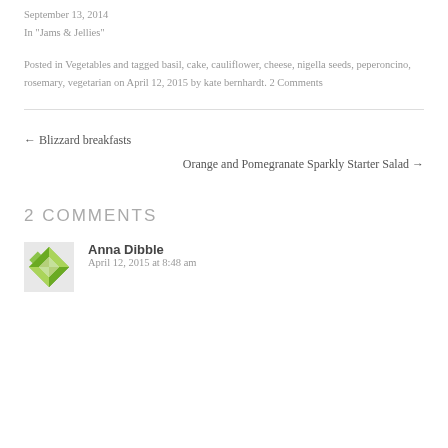September 13, 2014
In "Jams & Jellies"
Posted in Vegetables and tagged basil, cake, cauliflower, cheese, nigella seeds, peperoncino, rosemary, vegetarian on April 12, 2015 by kate bernhardt. 2 Comments
← Blizzard breakfasts
Orange and Pomegranate Sparkly Starter Salad →
2 COMMENTS
Anna Dibble
April 12, 2015 at 8:48 am